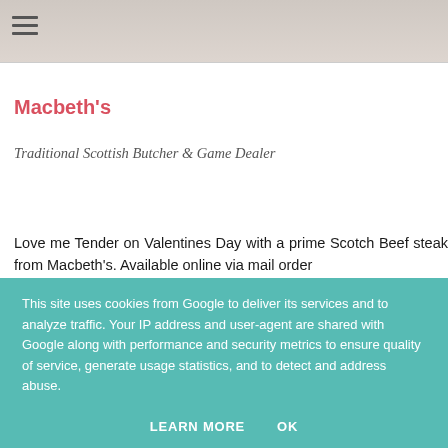[Figure (photo): Partial header image with light grey/beige tones, likely a food or butcher shop photo]
Macbeth's
Traditional Scottish Butcher & Game Dealer
Love me Tender on Valentines Day with a prime Scotch Beef steak from Macbeth's. Available online via mail order
This site uses cookies from Google to deliver its services and to analyze traffic. Your IP address and user-agent are shared with Google along with performance and security metrics to ensure quality of service, generate usage statistics, and to detect and address abuse.
LEARN MORE   OK